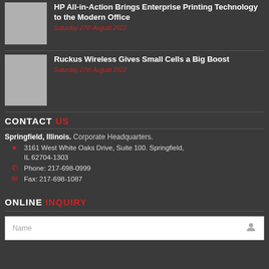[Figure (photo): Thumbnail image placeholder (gray square) for article about HP printing technology]
HP All-in-Action Brings Enterprise Printing Technology to the Modern Office
Saturday 27th August 2022
[Figure (photo): Thumbnail image placeholder (gray square) for Ruckus Wireless article]
Ruckus Wireless Gives Small Cells a Big Boost
Saturday 27th August 2022
CONTACT US
Springfield, Illinois. Corporate Headquarters.
3161 West White Oaks Drive, Suite 100. Springfield, IL 62704-1303
Phone: 217-698-0999
Fax: 217-698-1087
ONLINE INQUIRY
Name